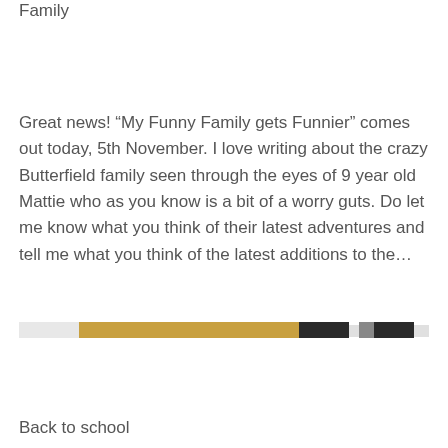…My Funny Family gets Funnier – ...playing with Family
Great news! “My Funny Family gets Funnier” comes out today, 5th November. I love writing about the crazy Butterfield family seen through the eyes of 9 year old Mattie who as you know is a bit of a worry guts. Do let me know what you think of their latest adventures and tell me what you think of the latest additions to the…
[Figure (photo): A horizontal strip image showing what appears to be pencils or sticks in tan, black and white colors]
Back to school